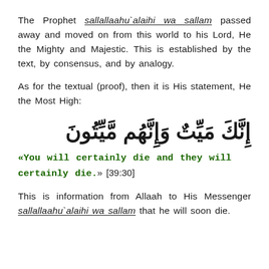The Prophet sallallaahu`alaihi wa sallam passed away and moved on from this world to his Lord, He the Mighty and Majestic. This is established by the text, by consensus, and by analogy.
As for the textual (proof), then it is His statement, He the Most High:
إِنَّكَ مَيِّتٌ وَإِنَّهُم مَّيِّتُونَ (Arabic text, bold, right-to-left)
«You will certainly die and they will certainly die.» [39:30]
This is information from Allaah to His Messenger sallallaahu`alaihi wa sallam that he will soon die.